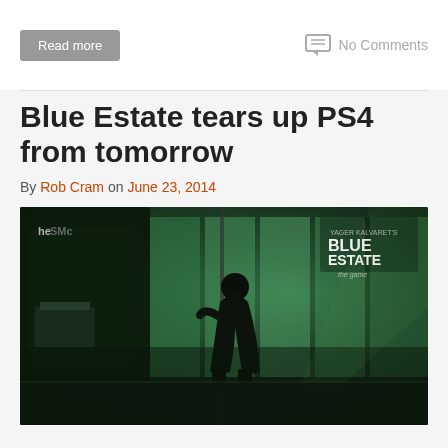Read more
No Comments
Blue Estate tears up PS4 from tomorrow
By Rob Cram on June 23, 2014
[Figure (photo): Blue Estate game promotional image showing a female silhouette figure in a dark green-lit room with large windows, with the Blue Estate game logo in the top right corner]